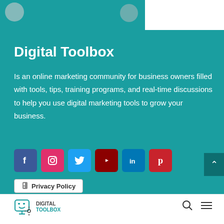[Figure (illustration): Top decorative strip with teal background on left and gear/tool images]
Digital Toolbox
Is an online marketing community for business owners filled with tools, tips, training programs, and real-time discussions to help you use digital marketing tools to grow your business.
[Figure (infographic): Social media icon buttons: Facebook, Instagram, Twitter, YouTube, LinkedIn, Pinterest]
Privacy Policy
[Figure (logo): Digital Toolbox logo with robot face icon, text DIGITAL TOOLBOX in teal, search icon and hamburger menu]